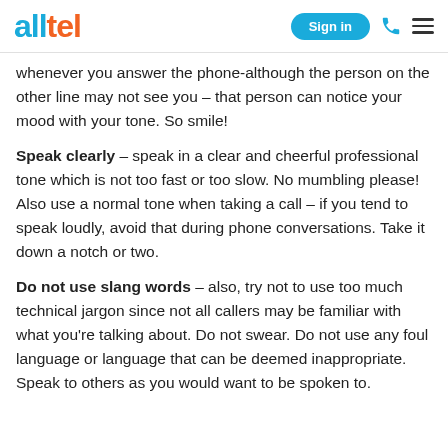alltel | Sign in
whenever you answer the phone-although the person on the other line may not see you – that person can notice your mood with your tone. So smile!
Speak clearly – speak in a clear and cheerful professional tone which is not too fast or too slow. No mumbling please! Also use a normal tone when taking a call – if you tend to speak loudly, avoid that during phone conversations. Take it down a notch or two.
Do not use slang words – also, try not to use too much technical jargon since not all callers may be familiar with what you're talking about. Do not swear. Do not use any foul language or language that can be deemed inappropriate. Speak to others as you would want to be spoken to.